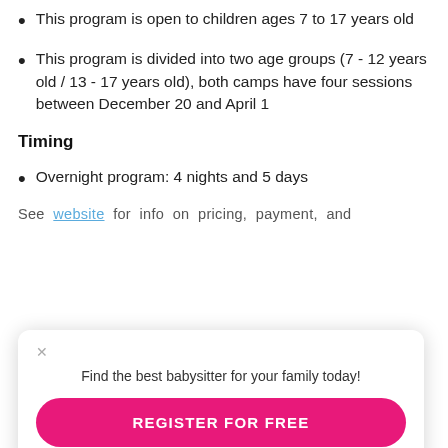This program is open to children ages 7 to 17 years old
This program is divided into two age groups (7 - 12 years old / 13 - 17 years old), both camps have four sessions between December 20 and April 1
Timing
Overnight program: 4 nights and 5 days
See website for info on pricing, payment, and
Find the best babysitter for your family today!
REGISTER FOR FREE
Program Highlights